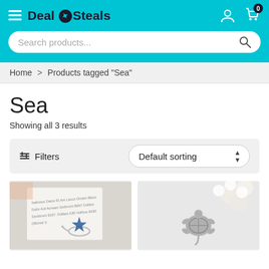Deal & Steals — header with search bar
Home > Products tagged "Sea"
Sea
Showing all 3 results
Filters   Default sorting
[Figure (photo): Two product images: left shows a silver star ring on paper; right shows a silver turtle charm near white flowers.]